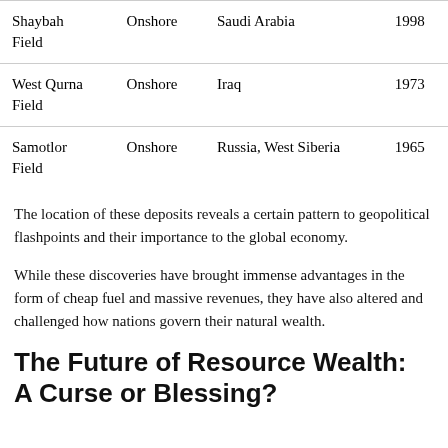| Shaybah Field | Onshore | Saudi Arabia | 1998 |
| West Qurna Field | Onshore | Iraq | 1973 |
| Samotlor Field | Onshore | Russia, West Siberia | 1965 |
The location of these deposits reveals a certain pattern to geopolitical flashpoints and their importance to the global economy.
While these discoveries have brought immense advantages in the form of cheap fuel and massive revenues, they have also altered and challenged how nations govern their natural wealth.
The Future of Resource Wealth: A Curse or Blessing?